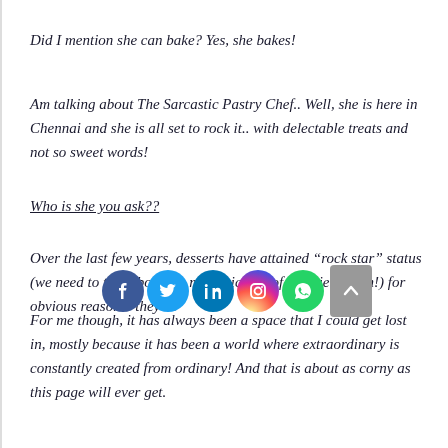Did I mention she can bake? Yes, she bakes!
Am talking about The Sarcastic Pastry Chef.. Well, she is here in Chennai and she is all set to rock it.. with delectable treats and not so sweet words!
Who is she you ask??
Over the last few years, desserts have attained “rock star” status (we need to talk about the meteoric rise of Cookie Dough!) for obvious reasons- they’re [z]
[Figure (infographic): Social media share icons: Facebook (blue), Twitter (light blue), LinkedIn (dark blue), Instagram (gradient), WhatsApp (green), and a grey scroll-to-top button]
For me though, it has always been a space that I could get lost in, mostly because it has been a world where extraordinary is constantly created from ordinary! And that is about as corny as this page will ever get.